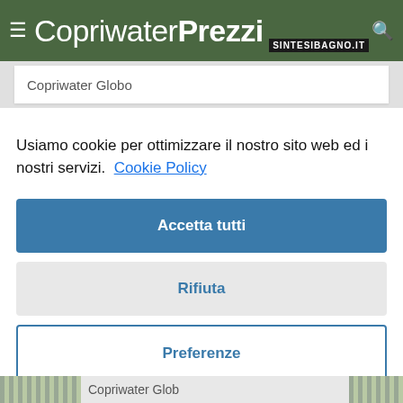CopriwaterPrezzi SINTESIBAGNO.IT
Copriwater Globo
Usiamo cookie per ottimizzare il nostro sito web ed i nostri servizi.  Cookie Policy
Accetta tutti
Rifiuta
Preferenze
Copriwater Globo